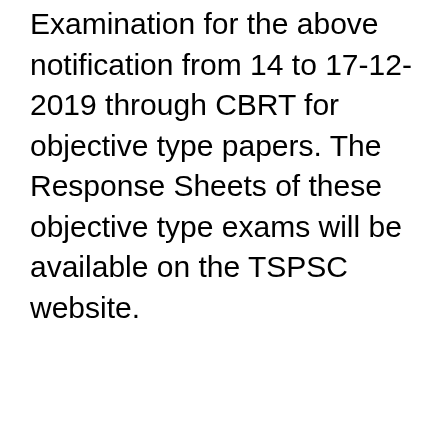Examination for the above notification from 14 to 17-12-2019 through CBRT for objective type papers. The Response Sheets of these objective type exams will be available on the TSPSC website.